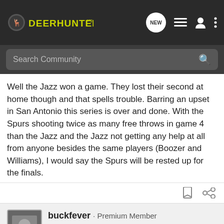DeerHunters.org
Search Community
Well the Jazz won a game. They lost their second at home though and that spells trouble. Barring an upset in San Antonio this series is over and done. With the Spurs shooting twice as many free throws in game 4 than the Jazz and the Jazz not getting any help at all from anyone besides the same players (Boozer and Williams), I would say the Spurs will be rested up for the finals.
buckfever · Premium Member
Joined Nov 1, 2006 · 5,650 Posts
[Figure (screenshot): Advertisement banner: Seeking Long Range Relationship - Kel-Tec CP33 Pistol, showing a pistol image on dark blue background]
#8 · Jun